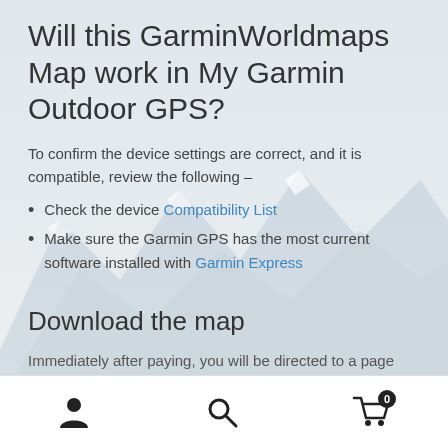Will this GarminWorldmaps Map work in My Garmin Outdoor GPS?
To confirm the device settings are correct, and it is compatible, review the following –
Check the device Compatibility List
Make sure the Garmin GPS has the most current software installed with Garmin Express
Download the map
Immediately after paying, you will be directed to a page
User icon | Search icon | Cart icon (0)